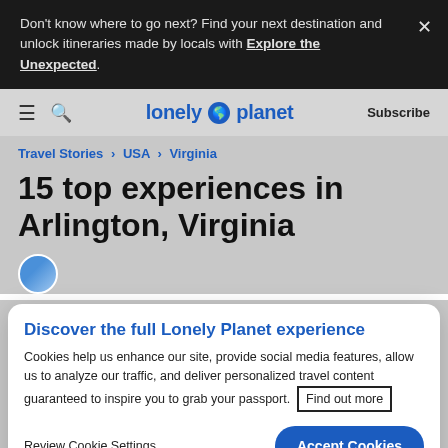Don't know where to go next? Find your next destination and unlock itineraries made by locals with Explore the Unexpected.
[Figure (screenshot): Lonely Planet website navigation bar with hamburger menu, search icon, Lonely Planet logo with globe icon, and Subscribe link]
Travel Stories > USA > Virginia
15 top experiences in Arlington, Virginia
Discover the full Lonely Planet experience
Cookies help us enhance our site, provide social media features, allow us to analyze our traffic, and deliver personalized travel content guaranteed to inspire you to grab your passport. Find out more
Review Cookie Settings
Accept Cookies